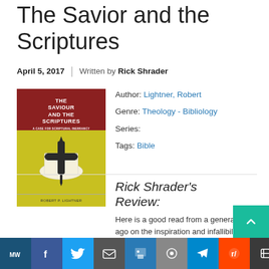The Savior and the Scriptures
April 5, 2017  |  Written by Rick Shrader
[Figure (illustration): Book cover: The Saviour and the Scriptures by Robert P. Lightner. Red top section with white bold title text, green/yellow bottom section with an illustration of a Bible and nails.]
Author: Lightner, Robert
Genre: Theology - Bibliology
Series:
Tags: Bible
Rick Shrader's Review:
Here is a good read from a generation ago on the inspiration and infallibility of Scripture. A must have for the last 100 years. Lightner wrote this in 1963 and updated it in